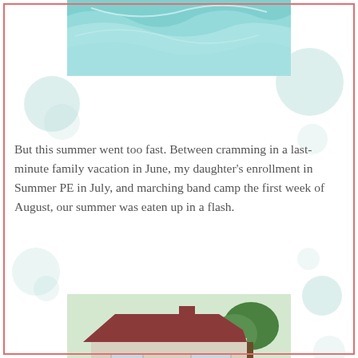[Figure (photo): Partial photo of water/pool with light blue-green tones at top of page]
But this summer went too fast. Between cramming in a last-minute family vacation in June, my daughter's enrollment in Summer PE in July, and marching band camp the first week of August, our summer was eaten up in a flash.
[Figure (photo): Two boys sitting outside in front of a house, playing with sticks or fishing rods on the grass]